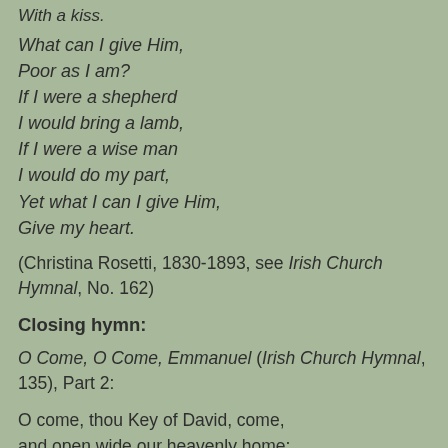With a kiss.
What can I give Him,
Poor as I am?
If I were a shepherd
I would bring a lamb,
If I were a wise man
I would do my part,
Yet what I can I give Him,
Give my heart.
(Christina Rosetti, 1830-1893, see Irish Church Hymnal, No. 162)
Closing hymn:
O Come, O Come, Emmanuel (Irish Church Hymnal, 135), Part 2:
O come, thou Key of David, come,
and open wide our heavenly home;
make safe the way that leads on high,
and close the path to misery. Refrain.